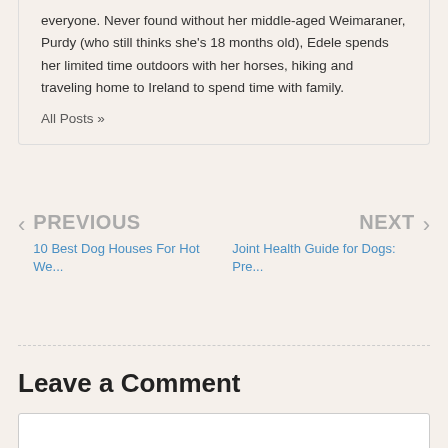everyone. Never found without her middle-aged Weimaraner, Purdy (who still thinks she's 18 months old), Edele spends her limited time outdoors with her horses, hiking and traveling home to Ireland to spend time with family.
All Posts »
PREVIOUS
10 Best Dog Houses For Hot We...
NEXT
Joint Health Guide for Dogs: Pre...
Leave a Comment